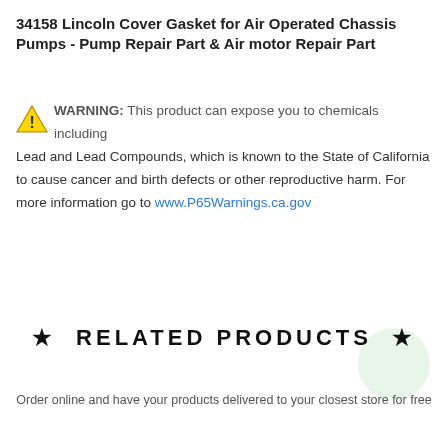34158 Lincoln Cover Gasket for Air Operated Chassis Pumps - Pump Repair Part & Air motor Repair Part
⚠ WARNING: This product can expose you to chemicals including Lead and Lead Compounds, which is known to the State of California to cause cancer and birth defects or other reproductive harm. For more information go to www.P65Warnings.ca.gov
★  RELATED PRODUCTS  ★
Order online and have your products delivered to your closest store for free